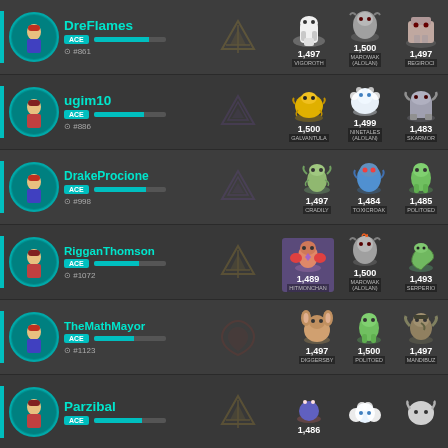DreFlames ACE #861 | 1,497 VIGOROTH | 1,500 MAROWAK (ALOLAN) | 1,497 REGIROC
ugim10 ACE #886 | 1,500 GALVANTULA | 1,499 NINETALES (ALOLAN) | 1,483 SKARMOR
DrakeProcione ACE #998 | 1,497 CRADILY | 1,484 TOXICROAK | 1,485 POLITOED
RigganThomson ACE #1072 | 1,489 HITMONCHAN | 1,500 MAROWAK (ALOLAN) | 1,493 SERPERIO
TheMathMayor ACE #1123 | 1,497 DIGGERSBY | 1,500 POLITOED | 1,497 MANDIBUZ
Parzibal ACE | 1,486